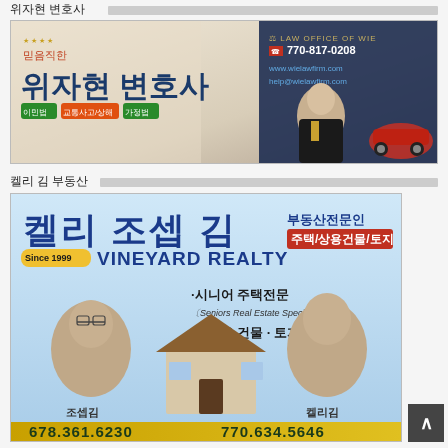위자현 변호사
[Figure (photo): Advertisement for Law Office of Wie - 위자현 변호사 (Attorney). Shows Korean man in suit. Phone: 770-817-0208, website: www.wielawfirm.com, help@wielawfirm.com. Specialties: 이민법, 교통사고/상해, 가정법.]
켈리 김 부동산
[Figure (photo): Advertisement for Vineyard Realty - 켈리 조셉 김 부동산전문인. 주택/상용건물/토지. Since 1999 VINEYARD REALTY. 시니어 주택전문 (Seniors Real Estate Specialist). 상업용 건물·토지. 조셉김: 678.361.6230, 켈리김: 770.634.5646.]